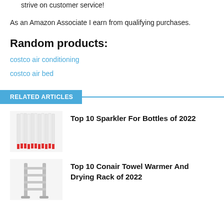do everything we can to ensure your needs are met. We strive on customer service!
As an Amazon Associate I earn from qualifying purchases.
Random products:
costco air conditioning
costco air bed
RELATED ARTICLES
[Figure (photo): Bundle of white sparklers standing upright with red tips at the bottom]
Top 10 Sparkler For Bottles of 2022
[Figure (photo): Gray metal towel warmer and drying rack with horizontal bars]
Top 10 Conair Towel Warmer And Drying Rack of 2022